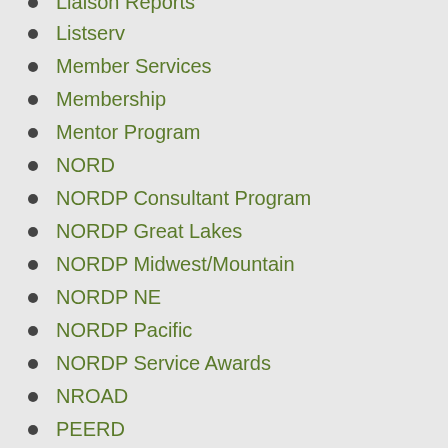Liaison Reports
Listserv
Member Services
Membership
Mentor Program
NORD
NORDP Consultant Program
NORDP Great Lakes
NORDP Midwest/Mountain
NORDP NE
NORDP Pacific
NORDP Service Awards
NROAD
PEERD
Postdoc to RD Transitions
Professional Development
Strategic Alliances